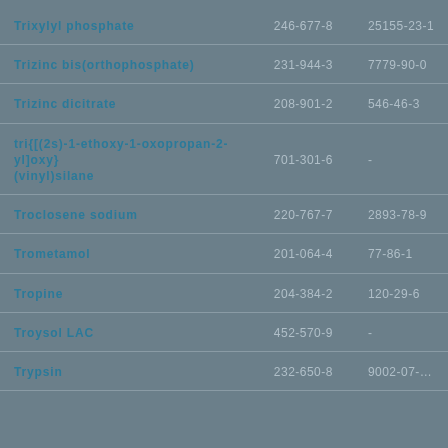| Name | EC Number | CAS Number |
| --- | --- | --- |
| Trixylyl phosphate | 246-677-8 | 25155-23-1 |
| Trizinc bis(orthophosphate) | 231-944-3 | 7779-90-0 |
| Trizinc dicitrate | 208-901-2 | 546-46-3 |
| tri{[(2s)-1-ethoxy-1-oxopropan-2-yl]oxy}(vinyl)silane | 701-301-6 | - |
| Troclosene sodium | 220-767-7 | 2893-78-9 |
| Trometamol | 201-064-4 | 77-86-1 |
| Tropine | 204-384-2 | 120-29-6 |
| Troysol LAC | 452-570-9 | - |
| Trypsin | 232-650-8 | 9002-07-… |